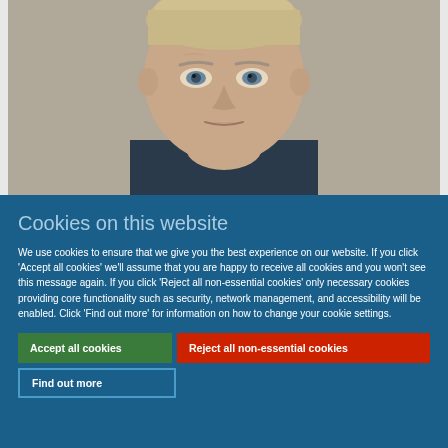[Figure (photo): Close-up photograph of a middle-aged man with short grey/blonde hair and light eyes, against a neutral background. Appears to be a headshot or mugshot style photo.]
Cookies on this website
We use cookies to ensure that we give you the best experience on our website. If you click 'Accept all cookies' we'll assume that you are happy to receive all cookies and you won't see this message again. If you click 'Reject all non-essential cookies' only necessary cookies providing core functionality such as security, network management, and accessibility will be enabled. Click 'Find out more' for information on how to change your cookie settings.
Accept all cookies
Reject all non-essential cookies
Find out more